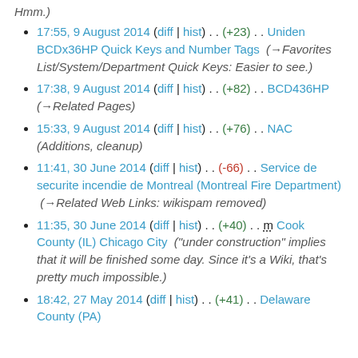Hmm.)
17:55, 9 August 2014 (diff | hist) . . (+23) . . Uniden BCDx36HP Quick Keys and Number Tags (→Favorites List/System/Department Quick Keys: Easier to see.)
17:38, 9 August 2014 (diff | hist) . . (+82) . . BCD436HP (→Related Pages)
15:33, 9 August 2014 (diff | hist) . . (+76) . . NAC (Additions, cleanup)
11:41, 30 June 2014 (diff | hist) . . (-66) . . Service de securite incendie de Montreal (Montreal Fire Department)  (→Related Web Links: wikispam removed)
11:35, 30 June 2014 (diff | hist) . . (+40) . . m Cook County (IL) Chicago City  ("under construction" implies that it will be finished some day. Since it's a Wiki, that's pretty much impossible.)
18:42, 27 May 2014 (diff | hist) . . (+41) . . Delaware County (PA)